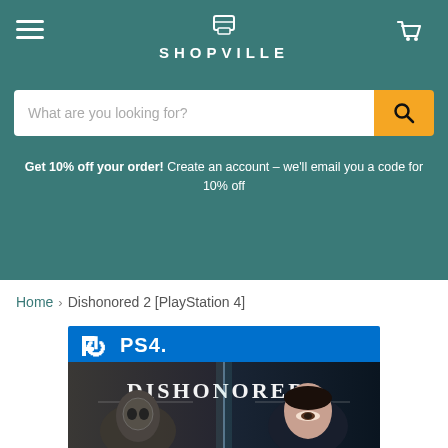SHOPVILLE
What are you looking for?
Get 10% off your order! Create an account – we'll email you a code for 10% off
Home > Dishonored 2 [PlayStation 4]
[Figure (photo): Dishonored 2 PlayStation 4 game box cover art showing PS4 logo on blue banner and two characters – a masked figure and a woman – with DISHONORED 2 title text]